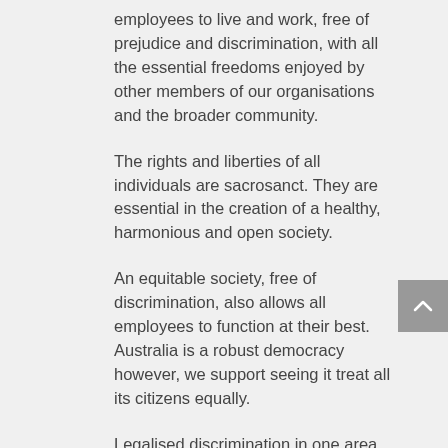employees to live and work, free of prejudice and discrimination, with all the essential freedoms enjoyed by other members of our organisations and the broader community.
The rights and liberties of all individuals are sacrosanct. They are essential in the creation of a healthy, harmonious and open society.
An equitable society, free of discrimination, also allows all employees to function at their best. Australia is a robust democracy however, we support seeing it treat all its citizens equally.
Legalised discrimination in one area allows discrimination to flourish in all areas.
Australians are increasingly supportive of